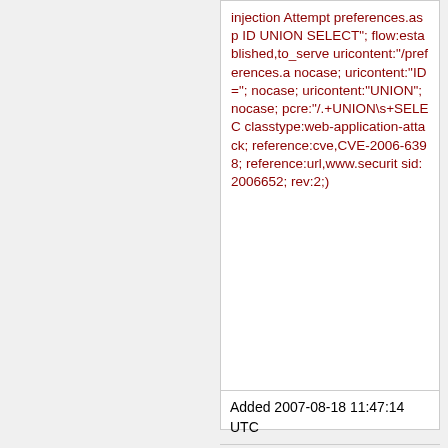injection Attempt preferences.asp ID UNION SELECT"; flow:established,to_serve uricontent:"/preferences.a nocase; uricontent:"ID="; nocase; uricontent:"UNION"; nocase; pcre:"/.+UNION\s+SELEC classtype:web-application-attack; reference:cve,CVE-2006-6398; reference:url,www.securit sid:2006652; rev:2;)
Added 2007-08-18 11:47:14 UTC